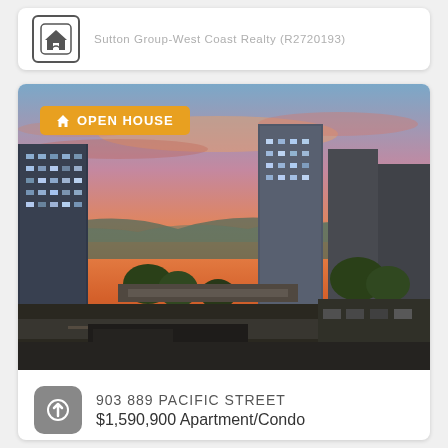Sutton Group-West Coast Realty (R2720193)
[Figure (photo): Aerial sunset view of urban high-rise apartment buildings with pink and orange sky, mountains in background, streets and trees below. Open House badge overlaid.]
903 889 PACIFIC STREET
$1,590,900 Apartment/Condo